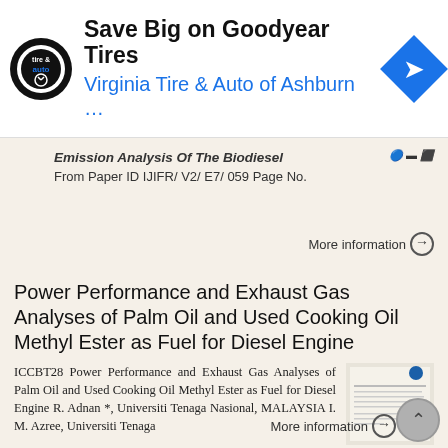[Figure (screenshot): Advertisement banner for Virginia Tire & Auto of Ashburn featuring Goodyear Tires offer with logo and navigation arrow icon]
Emission Analysis Of The Biodiesel From Paper ID IJIFR/ V2/ E7/ 059 Page No.
More information ⊙
Power Performance and Exhaust Gas Analyses of Palm Oil and Used Cooking Oil Methyl Ester as Fuel for Diesel Engine
ICCBT28 Power Performance and Exhaust Gas Analyses of Palm Oil and Used Cooking Oil Methyl Ester as Fuel for Diesel Engine R. Adnan *, Universiti Tenaga Nasional, MALAYSIA I. M. Azree, Universiti Tenaga
More information ⊙